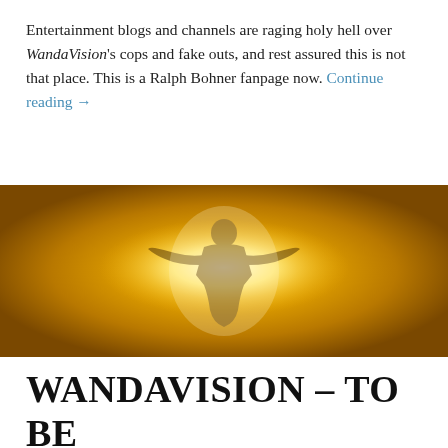Entertainment blogs and channels are raging holy hell over WandaVision's cops and fake outs, and rest assured this is not that place. This is a Ralph Bohner fanpage now. Continue reading →
[Figure (photo): A silhouette of a woman with arms outstretched against a bright golden-yellow glowing light background]
WANDAVISION – TO BE CONCLUDED